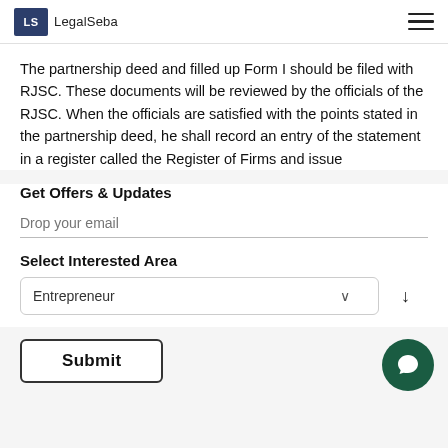LegalSeba
The partnership deed and filled up Form I should be filed with RJSC. These documents will be reviewed by the officials of the RJSC. When the officials are satisfied with the points stated in the partnership deed, he shall record an entry of the statement in a register called the Register of Firms and issue
Get Offers & Updates
Drop your email
Select Interested Area
Entrepreneur
Submit